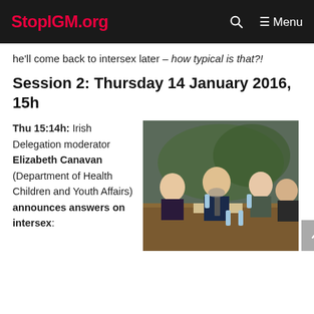StopIGM.org
he'll come back to intersex later – how typical is that?!
Session 2: Thursday 14 January 2016, 15h
Thu 15:14h: Irish Delegation moderator Elizabeth Canavan (Department of Health Children and Youth Affairs) announces answers on intersex:
[Figure (photo): Photo of people seated at a conference table with a nameplate reading 'IRELAND'. Several delegates are visible including a woman on the left, a man in the center with a beard and tie, and another woman to the right.]